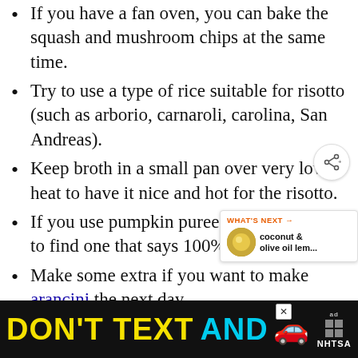If you have a fan oven, you can bake the squash and mushroom chips at the same time.
Try to use a type of rice suitable for risotto (such as arborio, carnaroli, carolina, San Andreas).
Keep broth in a small pan over very low heat to have it nice and hot for the risotto.
If you use pumpkin puree from a can, try to find one that says 100% pumpkin.
Make some extra if you want to make arancini the next day
For gluten-free mushroom chips, u[se rice] flour or any gluten-free flour instead of
[Figure (screenshot): DON'T TEXT AND [drive] advertisement banner from NHTSA with a red car emoji, ad badge, and close button]
[Figure (screenshot): WHAT'S NEXT callout showing coconut & olive oil lem... with a circular food image]
[Figure (screenshot): Share button (circular icon with share symbol)]